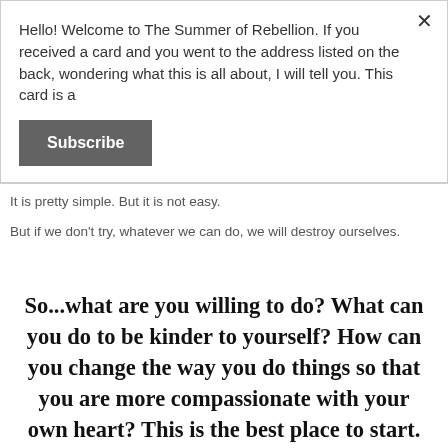Hello! Welcome to The Summer of Rebellion. If you received a card and you went to the address listed on the back, wondering what this is all about, I will tell you. This card is a
Subscribe
It is pretty simple. But it is not easy.
But if we don't try, whatever we can do, we will destroy ourselves.
So...what are you willing to do? What can you do to be kinder to yourself? How can you change the way you do things so that you are more compassionate with your own heart? This is the best place to start. Be kind to yourself. Treat yourself with love. Respect yourself. It will make it that much easier to do that with the